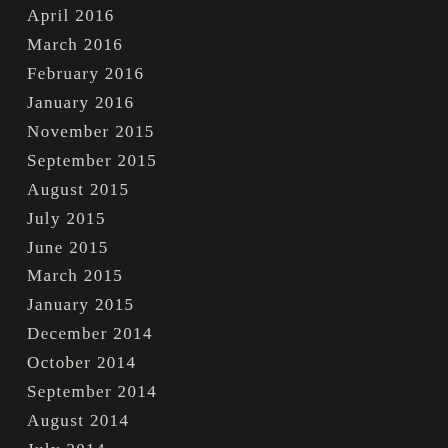April 2016
March 2016
February 2016
January 2016
November 2015
September 2015
August 2015
July 2015
June 2015
March 2015
January 2015
December 2014
October 2014
September 2014
August 2014
July 2014
June 2014
May 2014
March 2014